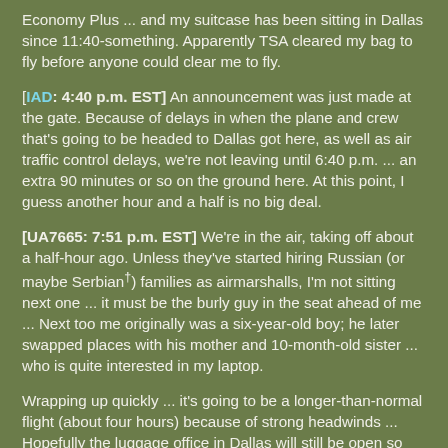Economy Plus ... and my suitcase has been sitting in Dallas since 11:40-something. Apparently TSA cleared my bag to fly before anyone could clear me to fly.
[IAD: 4:40 p.m. EST] An announcement was just made at the gate. Because of delays in when the plane and crew that's going to be headed to Dallas got here, as well as air traffic control delays, we're not leaving until 6:40 p.m. ... an extra 90 minutes or so on the ground here. At this point, I guess another hour and a half is no big deal.
[UA7665: 7:51 p.m. EST] We're in the air, taking off about a half-hour ago. Unless they've started hiring Russian (or maybe Serbian†) families as airmarshalls, I'm not sitting next one ... it must be the burly guy in the seat ahead of me ... Next too me originally was a six-year-old boy; he later swapped places with his mother and 10-month-old sister ... who is quite interested in my laptop.
Wrapping up quickly ... it's going to be a longer-than-normal flight (about four hours) because of strong headwinds ... Hopefully the luggage office in Dallas will still be open so